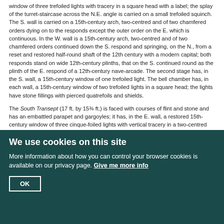window of three trefoiled lights with tracery in a square head with a label; the splay of the turret-staircase across the N.E. angle is carried on a small trefoiled squinch. The S. wall is carried on a 15th-century arch, two-centred and of two chamfered orders dying on to the responds except the outer order on the E. which is continuous. In the W. wall is a 15th-century arch, two-centred and of two chamfered orders continued down the S. respond and springing, on the N., from a reset and restored half-round shaft of the 12th century with a modern capital; both responds stand on wide 12th-century plinths, that on the S. continued round as the plinth of the E. respond of a 12th-century nave-arcade. The second stage has, in the S. wall, a 15th-century window of one trefoiled light. The bell chamber has, in each wall, a 15th-century window of two trefoiled lights in a square head; the lights have stone fillings with pierced quatrefoils and shields.
The South Transept (17 ft. by 15¾ ft.) is faced with courses of flint and stone and has an embattled parapet and gargoyles; it has, in the E. wall, a restored 15th-century window of three cinque-foiled lights with vertical tracery in a two-centred head with a label. In the S. wall is a similar window. In the W. wall is a 15th-century arch, two-centred and of two chamfered orders, the inner springing from a semi-octagonal N. shaft with moulded and carved capital and moulded base; on the S. it springs from a moulded corbel.
We use cookies on this site
More information about how you can control your browser cookies is available on our privacy page. Give me more info
OK